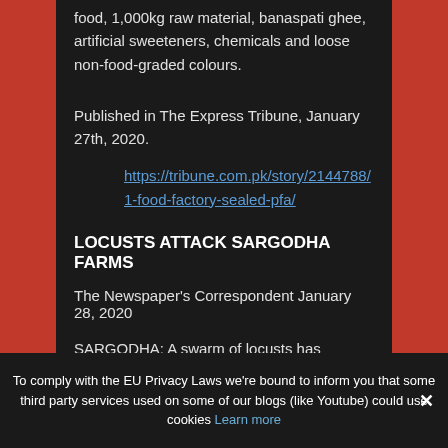food, 1,000kg raw material, banaspati ghee, artificial sweeteners, chemicals and loose non-food-graded colours.
Published in The Express Tribune, January 27th, 2020.
https://tribune.com.pk/story/2144788/1-food-factory-sealed-pfa/
LOCUSTS ATTACK SARGODHA FARMS
The Newspaper's Correspondent January 28, 2020
SARGODHA: A swarm of locusts has attacked farms in Sargodha and adjoining areas, including Sahiwal, Shahpur and Sillanwali.
Farmers say the insect attack has inflicted unbearable
To comply with the EU Privacy Laws we're bound to inform you that some third party services used on some of our blogs (like Youtube) could use cookies Learn more